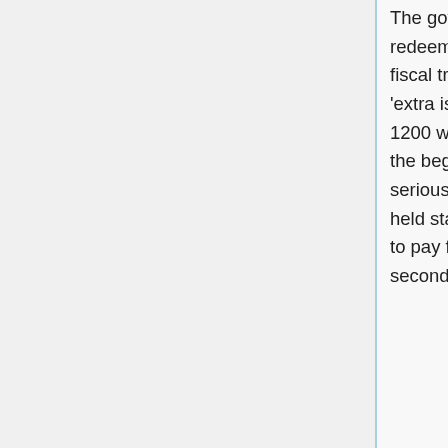The governments have tried to keep their issues constant at first, and to redeem them at predefined times. But they soon turned to solving their fiscal troubles with printing money. In the province of Szechuan, the first 'extra issues' were made in 1072. The expansion continued until around 1200 was the currency started to be abandoned. In Southern Sung, from the beginning of inflation in 1176 it took to the thirteenth century for a serious decline in value. In northern Chin was the amount of paper money held stable from 1153 until 1190. Following various experiments, attempts to pay for military expenditures have completely destroyed its value by the second decade of 13th century.